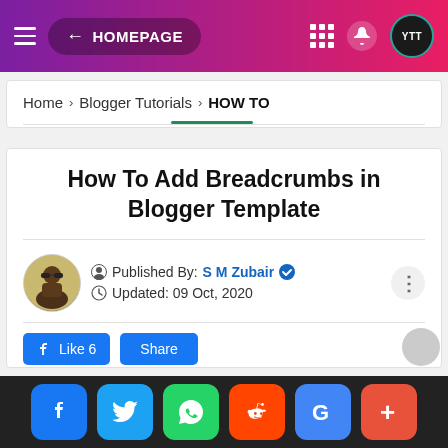← HOMEPAGE
Home > Blogger Tutorials > HOW TO
How To Add Breadcrumbs in Blogger Template
Published By: S M Zubair ✓  Updated: 09 Oct, 2020
Like 6  Share
f  Twitter  WhatsApp  Reddit  G  +